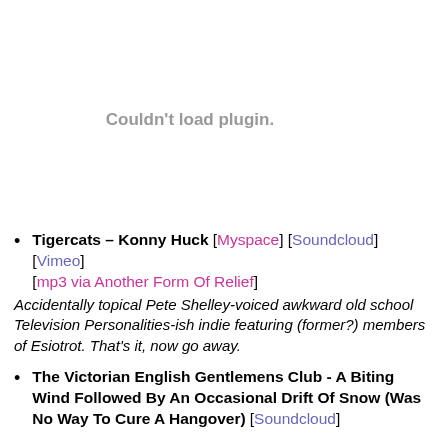[Figure (other): Embedded media plugin placeholder showing 'Couldn't load plugin.' text in gray]
Tigercats – Konny Huck [Myspace] [Soundcloud] [Vimeo] [mp3 via Another Form Of Relief] Accidentally topical Pete Shelley-voiced awkward old school Television Personalities-ish indie featuring (former?) members of Esiotrot. That's it, now go away.
The Victorian English Gentlemens Club - A Biting Wind Followed By An Occasional Drift Of Snow (Was No Way To Cure A Hangover) [Soundcloud]